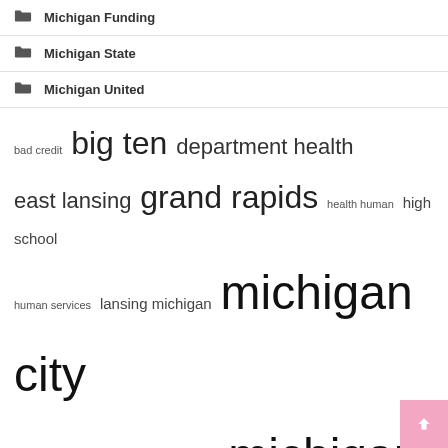Michigan Funding
Michigan State
Michigan United
[Figure (infographic): Tag cloud with terms related to Michigan, varying font sizes indicating frequency: bad credit, big ten, department health, east lansing, grand rapids, health human, high school, human services, lansing michigan, michigan city, michigan department, michigan state, payday loans, state michigan, st joseph, traverse city, united states, university michigan]